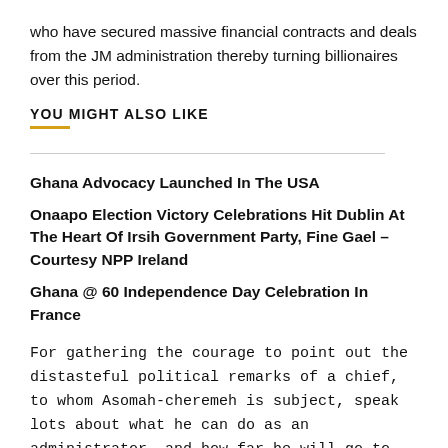who have secured massive financial contracts and deals from the JM administration thereby turning billionaires over this period.
YOU MIGHT ALSO LIKE
Ghana Advocacy Launched In The USA
Onaapo Election Victory Celebrations Hit Dublin At The Heart Of Irsih Government Party, Fine Gael – Courtesy NPP Ireland
Ghana @ 60 Independence Day Celebration In France
For gathering the courage to point out the distasteful political remarks of a chief, to whom Asomah-cheremeh is subject, speak lots about what he can do as an administrator, and how far he will go to defend the constitution of the land, and the rights of its citizens. Notwithstanding, the regional house of